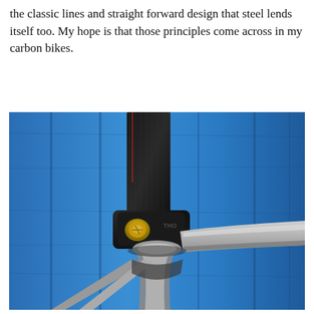the classic lines and straight forward design that steel lends itself too. My hope is that those principles come across in my carbon bikes.
[Figure (photo): Close-up photograph of a bicycle frame junction showing a carbon fiber seatpost with a black Thomson seatpost clamp (with gold bolt) clamped onto a matte silver/raw carbon bicycle frame top tube area, with blue painted wooden boards in the background.]